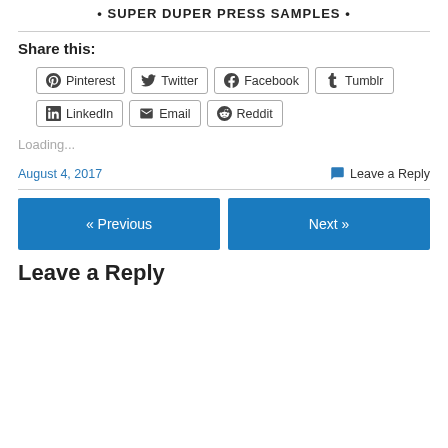• SUPER DUPER PRESS SAMPLES •
Share this:
Pinterest
Twitter
Facebook
Tumblr
LinkedIn
Email
Reddit
Loading...
August 4, 2017
Leave a Reply
« Previous
Next »
Leave a Reply